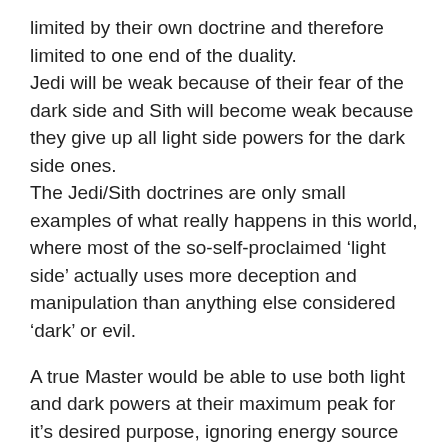limited by their own doctrine and therefore limited to one end of the duality.
Jedi will be weak because of their fear of the dark side and Sith will become weak because they give up all light side powers for the dark side ones.
The Jedi/Sith doctrines are only small examples of what really happens in this world, where most of the so-self-proclaimed ‘light side’ actually uses more deception and manipulation than anything else considered ‘dark’ or evil.
A true Master would be able to use both light and dark powers at their maximum peak for it’s desired purpose, ignoring energy source and polarity.
That’s the biggest secret of the Force.
I have discovered that there is a 3rd way, a way that allowes you to have supreme power from both sides. It allows you to both be at your most powerful at will.